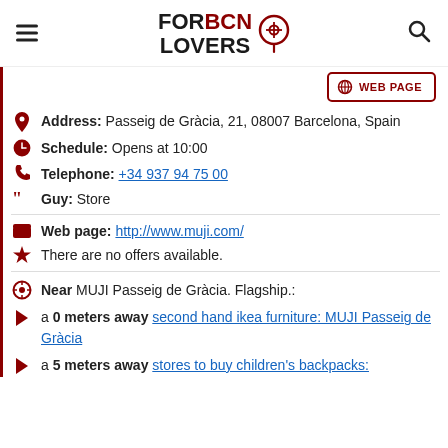FORBCN LOVERS
WEB PAGE
Address: Passeig de Gràcia, 21, 08007 Barcelona, Spain
Schedule: Opens at 10:00
Telephone: +34 937 94 75 00
Guy: Store
Web page: http://www.muji.com/
There are no offers available.
Near MUJI Passeig de Gràcia. Flagship.:
a 0 meters away second hand ikea furniture: MUJI Passeig de Gràcia
a 5 meters away stores to buy children's backpacks: